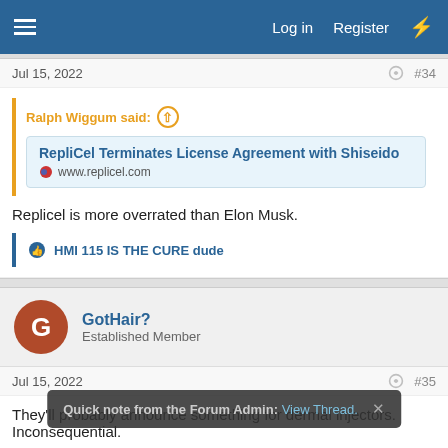Log in   Register
Jul 15, 2022  #34
Ralph Wiggum said:
RepliCel Terminates License Agreement with Shiseido
www.replicel.com
Replicel is more overrated than Elon Musk.
HMI 115 IS THE CURE dude
GotHair?
Established Member
Jul 15, 2022  #35
They'll probably announce something for dermal injectors. Inconsequential.
Quick note from the Forum Admin: View Thread.